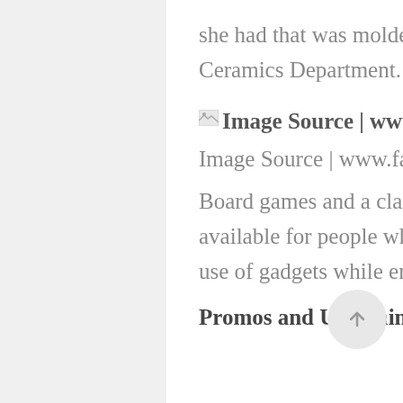she had that was molded by the staff from the MSU–IIT Ceramics Department.
Image Source | www.facebook.com/MangoManiaCDO
Image Source | www.facebook.com/MangoManiaCDO
Board games and a classic miniature soccer table game are available for people who want to have some fun without the use of gadgets while enjoying their healthy desserts or snacks.
Promos and Upcoming Events